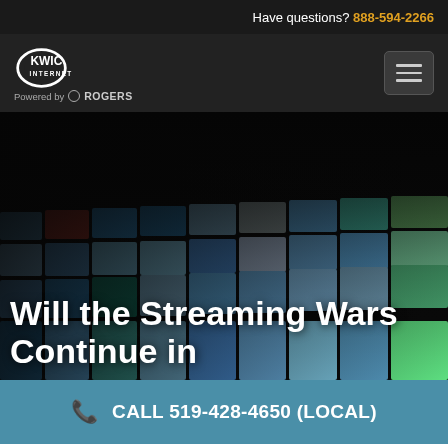Have questions? 888-594-2266
[Figure (logo): KWIC Internet logo with Powered by Rogers tagline]
Will the Streaming Wars Continue in
CALL 519-428-4650 (LOCAL)